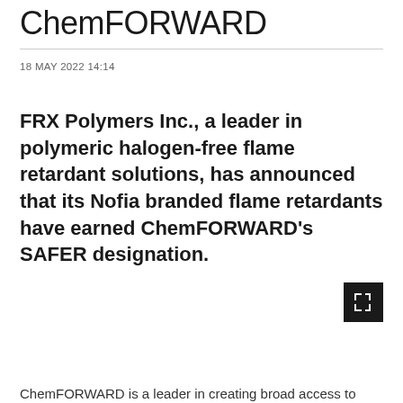ChemFORWARD
18 MAY 2022 14:14
FRX Polymers Inc., a leader in polymeric halogen-free flame retardant solutions, has announced that its Nofia branded flame retardants have earned ChemFORWARD's SAFER designation.
[Figure (logo): Small black square icon with a white bracket/scan frame symbol in the corner]
ChemFORWARD is a leader in creating broad access to